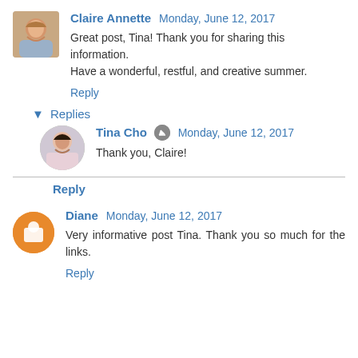Claire Annette  Monday, June 12, 2017
Great post, Tina! Thank you for sharing this information. Have a wonderful, restful, and creative summer.
Reply
▾ Replies
Tina Cho  Monday, June 12, 2017
Thank you, Claire!
Reply
Diane  Monday, June 12, 2017
Very informative post Tina. Thank you so much for the links.
Reply